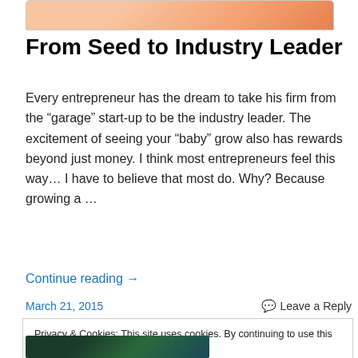[Figure (photo): Cropped top portion of an image, showing orange/skin-toned content, likely a person or product photo]
From Seed to Industry Leader
Every entrepreneur has the dream to take his firm from the “garage” start-up to be the industry leader. The excitement of seeing your “baby” grow also has rewards beyond just money. I think most entrepreneurs feel this way… I have to believe that most do. Why? Because growing a …
Continue reading →
March 21, 2015
Leave a Reply
Privacy & Cookies: This site uses cookies. By continuing to use this website, you agree to their use.
To find out more, including how to control cookies, see here: Cookie Policy
Close and accept
[Figure (photo): Cropped bottom portion of an image showing dark colored content, partially visible]